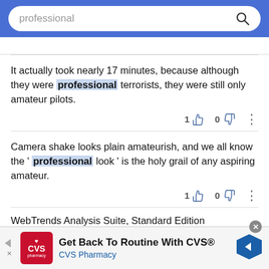[Figure (screenshot): Search bar with text 'professional' and magnifying glass icon on blue background]
It actually took nearly 17 minutes, because although they were professional terrorists, they were still only amateur pilots.
Camera shake looks plain amateurish, and we all know the ' professional look ' is the holy grail of any aspiring amateur.
WebTrends Analysis Suite, Standard Edition
[Figure (screenshot): CVS Pharmacy advertisement banner: 'Get Back To Routine With CVS® CVS Pharmacy']